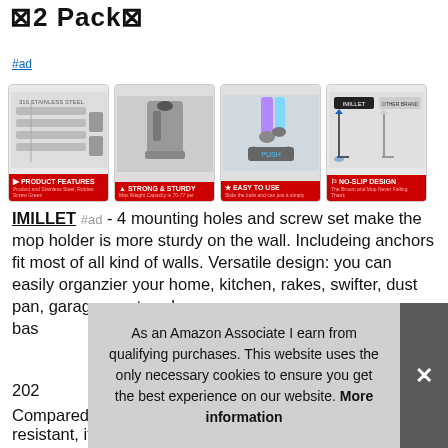⊠2 Pack⊠
#ad
[Figure (photo): Four product images in a row: Product Features diagram, Strong & Sturdy photo, Easy to Use photo, No-Slip Design comparison. Each with a red label banner at bottom.]
IMILLET #ad - 4 mounting holes and screw set make the mop holder is more sturdy on the wall. Includeing anchors fit most of all kind of walls. Versatile design: you can easily organzier your home, kitchen, rakes, swifter, dust pan, garage, pantry, sho bas
202
Compared with the plastic broom rack, corrosion-resistant, it's
As an Amazon Associate I earn from qualifying purchases. This website uses the only necessary cookies to ensure you get the best experience on our website. More information